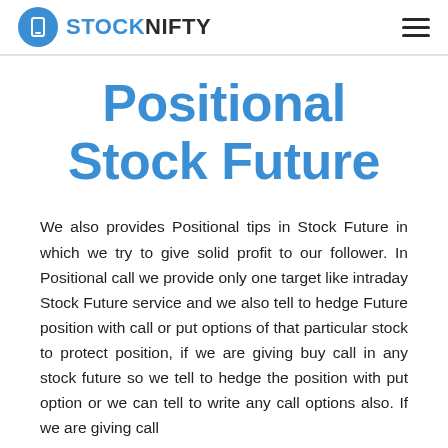STOCKNIFTY
Positional Stock Future
We also provides Positional tips in Stock Future in which we try to give solid profit to our follower. In Positional call we provide only one target like intraday Stock Future service and we also tell to hedge Future position with call or put options of that particular stock to protect position, if we are giving buy call in any stock future so we tell to hedge the position with put option or we can tell to write any call options also. If we are giving call